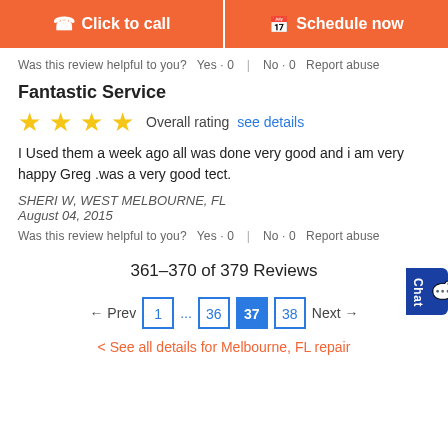[Figure (other): Two orange call-to-action buttons: 'Click to call' and 'Schedule now']
Was this review helpful to you?  Yes · 0  |  No · 0  Report abuse
Fantastic Service
[Figure (other): 4 yellow stars rating with label 'Overall rating' and 'see details' link]
I Used them a week ago all was done very good and i am very happy Greg .was a very good tect.
SHERI W, WEST MELBOURNE, FL
August 04, 2015
Was this review helpful to you?  Yes · 0  |  No · 0  Report abuse
361–370 of 379 Reviews
[Figure (other): Pagination: ← Prev  1  ...  36  37 (active)  38  Next →]
< See all details for Melbourne, FL repair